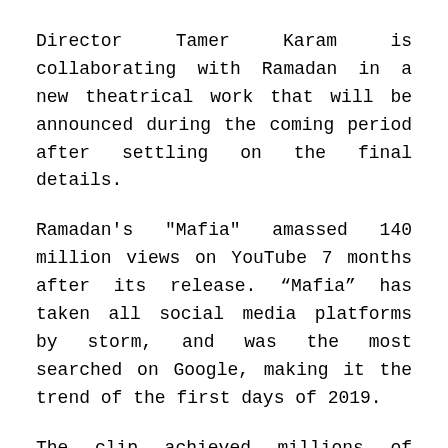Director Tamer Karam is collaborating with Ramadan in a new theatrical work that will be announced during the coming period after settling on the final details.
Ramadan's "Mafia" amassed 140 million views on YouTube 7 months after its release. “Mafia” has taken all social media platforms by storm, and was the most searched on Google, making it the trend of the first days of 2019.
The clip achieved millions of views a few hours after its launch on Ramadan’s official YouTube channel. Ramadan received appraisal from his fans on the clip, which he presented in a distinctive way.